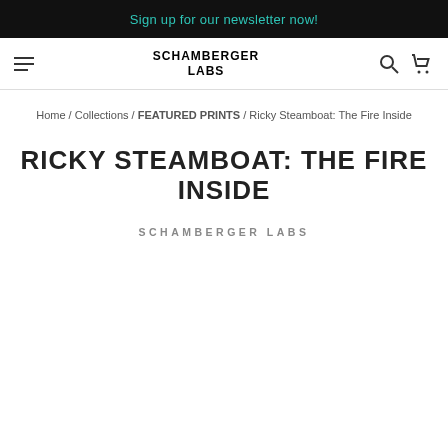Sign up for our newsletter now!
[Figure (logo): Schamberger Labs logo with hamburger menu, search and cart icons]
Home / Collections / FEATURED PRINTS / Ricky Steamboat: The Fire Inside
RICKY STEAMBOAT: THE FIRE INSIDE
SCHAMBERGER LABS